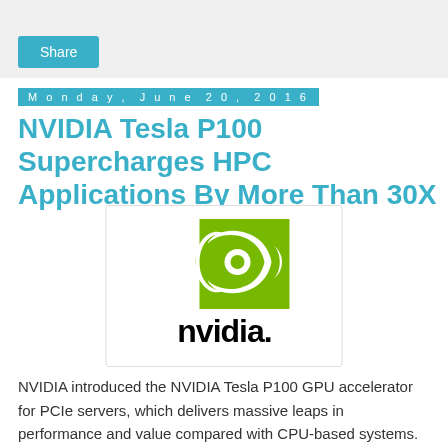Share
Monday, June 20, 2016
NVIDIA Tesla P100 Supercharges HPC Applications By More Than 30X
[Figure (logo): NVIDIA logo with green eye/swirl icon above the word NVIDIA in black text]
NVIDIA introduced the NVIDIA Tesla P100 GPU accelerator for PCIe servers, which delivers massive leaps in performance and value compared with CPU-based systems. Demand for supercomputing cycles is higher than ever. The majority of scientists are unable to secure adequate time on supercomputing systems to conduct their